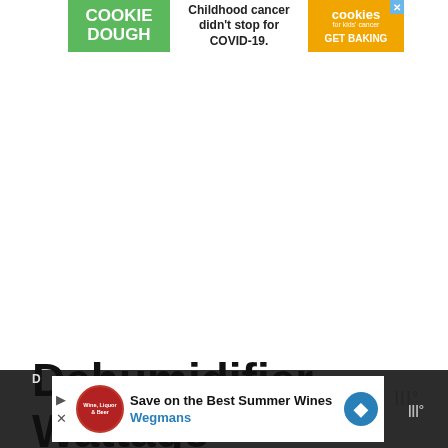[Figure (other): Cookie Dough for Kids Cancer advertisement banner: green section with 'COOKIE DOUGH' text, white section with 'Childhood cancer didn't stop for COVID-19.', orange section with cookies for kids cancer logo and 'GET BAKING' CTA]
Dehumidifier Wattage
[Figure (other): Bottom overlay advertisement: Wegmans 'Save on the Best Summer Wines' ad with red circular logo, text and blue arrow button, overlapping partially obscured article text about dehumidifier wattage (970W mentioned)]